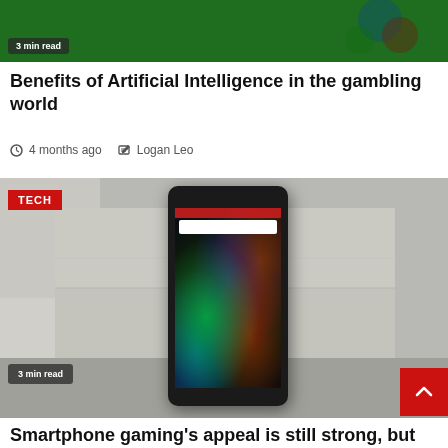[Figure (photo): Top partial image of a gambling/casino themed background with green and colorful elements, with a '3 min read' badge overlay]
Benefits of Artificial Intelligence in the gambling world
4 months ago  Logan Leo
[Figure (photo): Photo of a Razer gaming smartphone standing upright against a concrete/stone background, with colorful abstract wallpaper visible on screen. Has a red TECH badge in top-left corner and '3 min read' badge in bottom-left. Red scroll-to-top button in bottom-right.]
Smartphone gaming's appeal is still strong, but which devices are best?